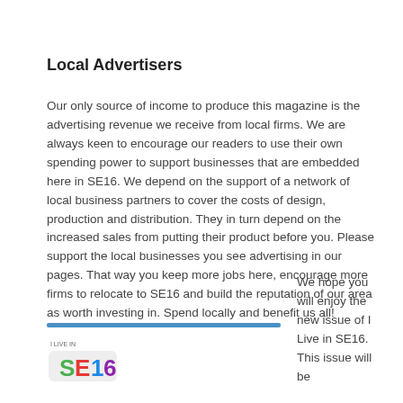Local Advertisers
Our only source of income to produce this magazine is the advertising revenue we receive from local firms. We are always keen to encourage our readers to use their own spending power to support businesses that are embedded here in SE16. We depend on the support of a network of local business partners to cover the costs of design, production and distribution. They in turn depend on the increased sales from putting their product before you. Please support the local businesses you see advertising in our pages. That way you keep more jobs here, encourage more firms to relocate to SE16 and build the reputation of our area as worth investing in. Spend locally and benefit us all!
[Figure (logo): I Live in SE16 logo with coloured letters]
We hope you will enjoy the new issue of I Live in SE16. This issue will be